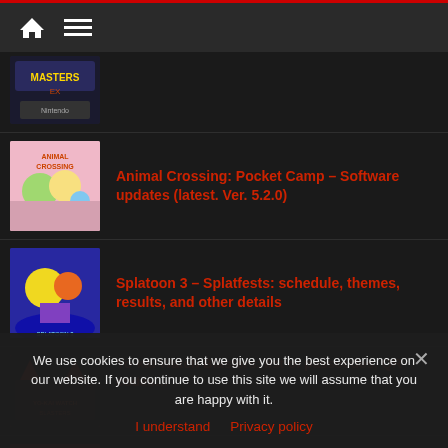Navigation bar with home and menu icons
[Figure (screenshot): Thumbnail image for Masters EX game article]
[Figure (screenshot): Thumbnail image for Animal Crossing: Pocket Camp article]
Animal Crossing: Pocket Camp – Software updates (latest. Ver. 5.2.0)
[Figure (screenshot): Thumbnail image for Splatoon 3 Splatfests article]
Splatoon 3 – Splatfests: schedule, themes, results, and other details
[Figure (screenshot): Thumbnail image for Yo-kai Watch Blasters article]
Yo-kai Watch Blasters: list of passcodes, QR codes…
[Figure (screenshot): Thumbnail image for Pokémon article]
Pokémon … all QR codes, Serial codes, Distributions…
We use cookies to ensure that we give you the best experience on our website. If you continue to use this site we will assume that you are happy with it.
I understand   Privacy policy